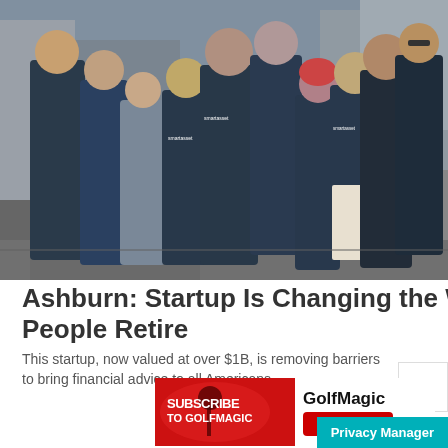[Figure (photo): Group photo of about 11 people wearing dark teal/blue SmartAsset branded t-shirts standing on a city street.]
Ashburn: Startup Is Changing the Way People Retire
This startup, now valued at over $1B, is removing barriers to bring financial advice to all Americans.
[Figure (screenshot): Advertisement banner: SUBSCRIBE TO GOLFMAGIC - GolfMagic YouTube]